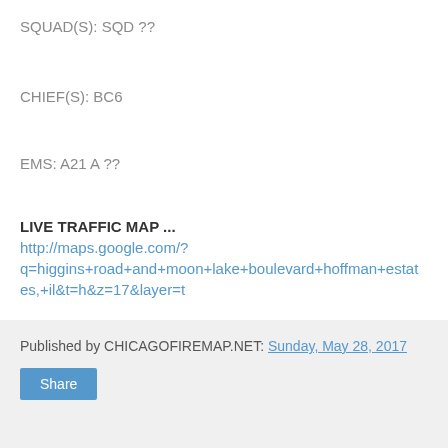SQUAD(S): SQD ??
CHIEF(S): BC6
EMS: A21 A ??
LIVE TRAFFIC MAP ...
http://maps.google.com/?q=higgins+road+and+moon+lake+boulevard+hoffman+estates,+il&t=h&z=17&layer=t
Get updates in your Facebook feed
facebook.com/CardinalEmergencies
Published by CHICAGOFIREMAP.NET: Sunday, May 28, 2017